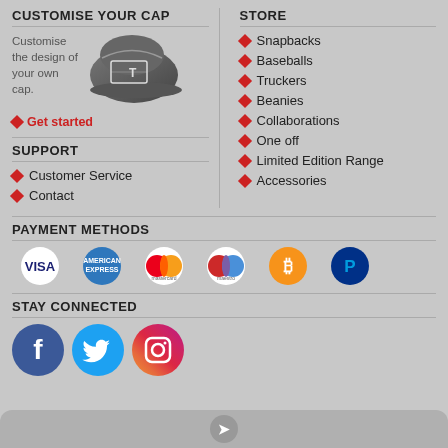CUSTOMISE YOUR CAP
Customise the design of your own cap.
[Figure (photo): Image of a customisable cap with a design template overlay]
Get started
STORE
Snapbacks
Baseballs
Truckers
Beanies
Collaborations
One off
Limited Edition Range
Accessories
SUPPORT
Customer Service
Contact
PAYMENT METHODS
[Figure (logo): Payment method logos: VISA, American Express, Mastercard, Maestro, Bitcoin, PayPal]
STAY CONNECTED
[Figure (logo): Social media icons: Facebook, Twitter, Instagram]